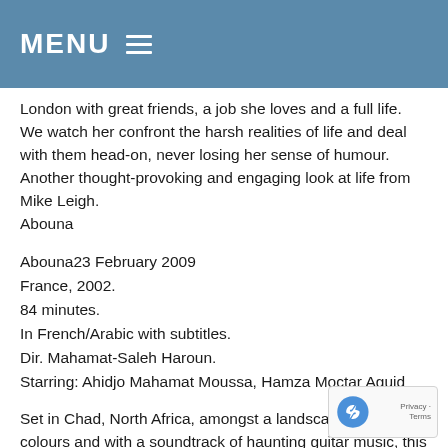MENU ☰
London with great friends, a job she loves and a full life. We watch her confront the harsh realities of life and deal with them head-on, never losing her sense of humour. Another thought-provoking and engaging look at life from Mike Leigh.
Abouna
Abouna23 February 2009
France, 2002.
84 minutes.
In French/Arabic with subtitles.
Dir. Mahamat-Saleh Haroun.
Starring: Ahidjo Mahamat Moussa, Hamza Moctar Aguid
Set in Chad, North Africa, amongst a landscape of vivid colours and with a soundtrack of haunting guitar music, this film tells the story of Tahir and Amine, two brothers whose lives are in turmoil after their father deserts them. The search for their father eventually leads to an affecting and uplifting family recon... A gentle and artistic film about love and loss.